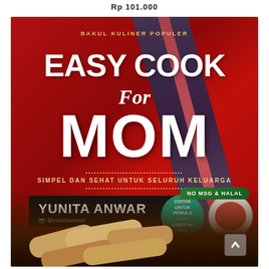Rp 101.000
[Figure (photo): Book cover for 'Easy Cook for Mom' by Yunita Anwar. Red background with chopsticks, spring rolls, and dipping sauce. Text includes: BAKUL KULINER POPULER, EASY COOK For MOM, SIMPEL DAN SEHAT UNTUK SELURUH KELUARGA, YUNITA ANWAR @yunitaanwar, COCOK UNTUK PEMULA DISERTAI TIPS, NO MSG & HALAL.]